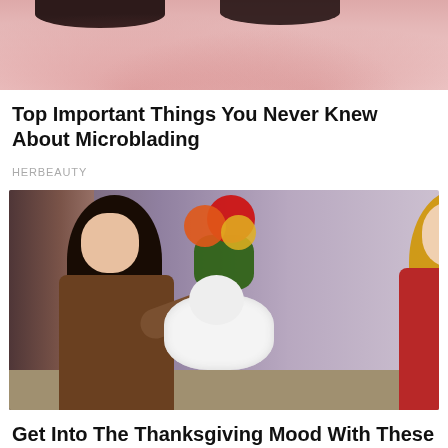[Figure (photo): Close-up photo of a person's forehead and eyebrows, showing skin texture, likely related to microblading article]
Top Important Things You Never Knew About Microblading
HERBEAUTY
[Figure (photo): Two women from the TV show Friends, one with dark hair and one with blonde hair, holding a small white fluffy dog, with colorful flowers in the background]
Get Into The Thanksgiving Mood With These Cool Friends Episodes
BRAINBERRIES